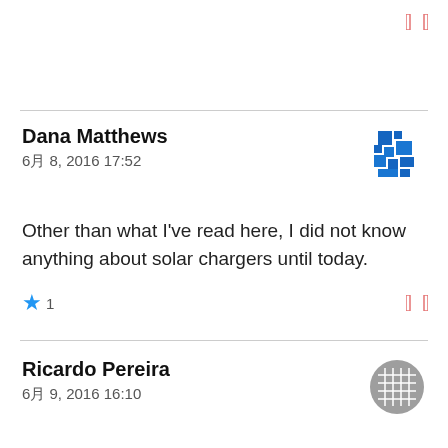[Figure (other): Small red square bracket icon in top right corner]
Dana Matthews
6月 8, 2016 17:52
[Figure (logo): Blue pixelated/fragmented square avatar icon for Dana Matthews]
Other than what I've read here, I did not know anything about solar chargers until today.
★ 1
[Figure (other): Small red square bracket icon in mid right]
Ricardo Pereira
6月 9, 2016 16:10
[Figure (logo): Gray grid/mesh circle avatar icon for Ricardo Pereira]
not much at all